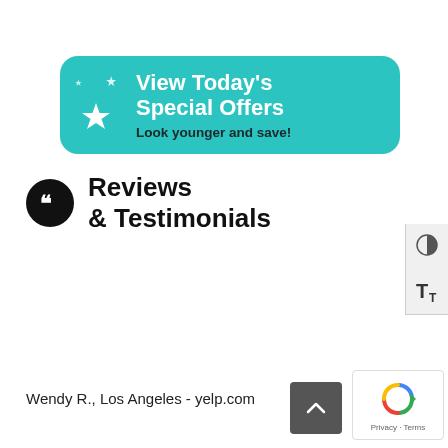[Figure (infographic): Teal rounded rectangle banner with white stars icon on left, white bold text 'View Today's Special Offers' and dark bold subtext 'Look younger and save!']
Reviews & Testimonials
This place and Marion highly recommended. Half the price of other places and she's an artist. I almost hate to give away this secret.
Wendy R., Los Angeles - yelp.com